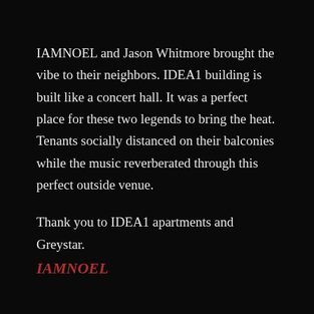IAMNOEL and Jason Whitmore brought the vibe to their neighbors. IDEA1 building is built like a concert hall. It was a perfect place for these two legends to bring the heat. Tenants socially distanced on their balconies while the music reverberated through this perfect outside venue.
Thank you to IDEA1 apartments and Greystar.
IAMNOEL